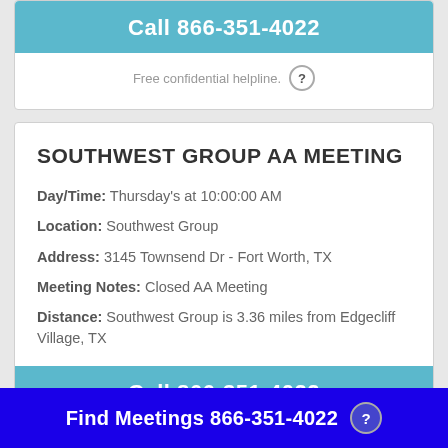Call 866-351-4022
Free confidential helpline.
SOUTHWEST GROUP AA MEETING
Day/Time: Thursday's at 10:00:00 AM
Location: Southwest Group
Address: 3145 Townsend Dr - Fort Worth, TX
Meeting Notes: Closed AA Meeting
Distance: Southwest Group is 3.36 miles from Edgecliff Village, TX
Call 866-351-4022
Find Meetings 866-351-4022